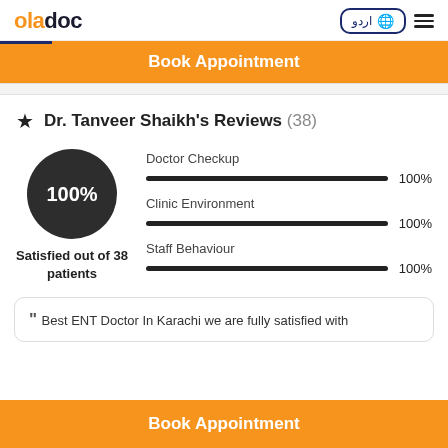oladoc — language selector and menu
Book Appointment
Dr. Tanveer Shaikh's Reviews (38)
[Figure (infographic): Circle showing 100% satisfaction rating with bar charts for Doctor Checkup (100%), Clinic Environment (100%), Staff Behaviour (100%). Text: Satisfied out of 38 patients.]
" Best ENT Doctor In Karachi we are fully satisfied with
Book Appointment